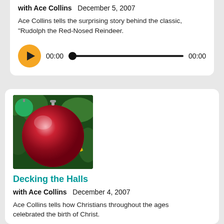with Ace Collins   December 5, 2007
Ace Collins tells the surprising story behind the classic, "Rudolph the Red-Nosed Reindeer.
[Figure (other): Audio player with play button, progress bar showing 00:00 and 00:00]
[Figure (photo): Close-up photo of a large red Christmas ornament ball hanging on a Christmas tree with green and yellow decorations in the background]
Decking the Halls
with Ace Collins   December 4, 2007
Ace Collins tells how Christians throughout the ages celebrated the birth of Christ.